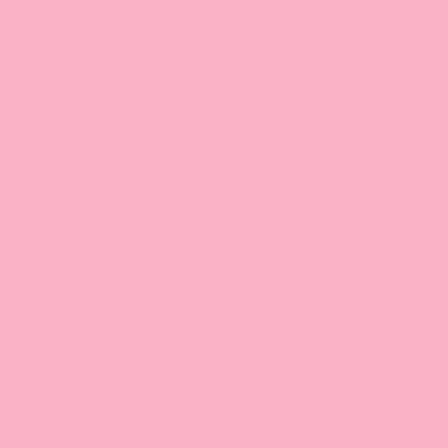[Figure (other): Solid pink/salmon colored background filling the entire page with a subtle textile or noise texture pattern.]